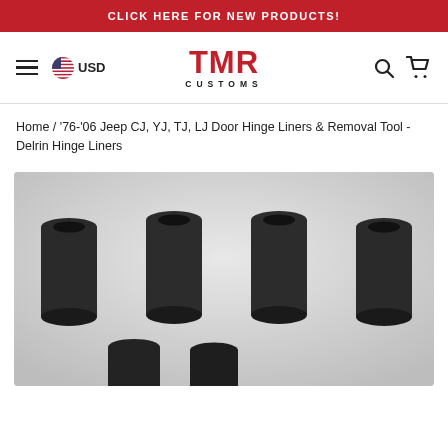CLICK HERE FOR NEW PRODUCTS!
[Figure (logo): TMR Customs logo with hamburger menu, USD flag, search and cart icons in navigation bar]
Home / '76-'06 Jeep CJ, YJ, TJ, LJ Door Hinge Liners & Removal Tool - Delrin Hinge Liners
[Figure (photo): Four black Delrin hinge liner bushings arranged on a light gray background, showing cylindrical tubes with flanged tops]